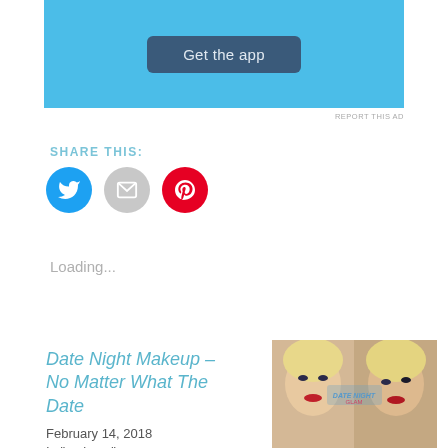[Figure (screenshot): Light blue advertisement banner with 'Get the app' dark button in center, with sparkle decorations]
REPORT THIS AD
SHARE THIS:
[Figure (illustration): Three social media share buttons: Twitter (blue bird), Email (grey envelope), Pinterest (red P)]
Loading...
Date Night Makeup – No Matter What The Date
February 14, 2018
In "makeup"
[Figure (photo): Two blonde women wearing glamorous makeup with red lips posing, collage style image]
In A Rush Glam, For The Nights For When You Can't Be Bothered